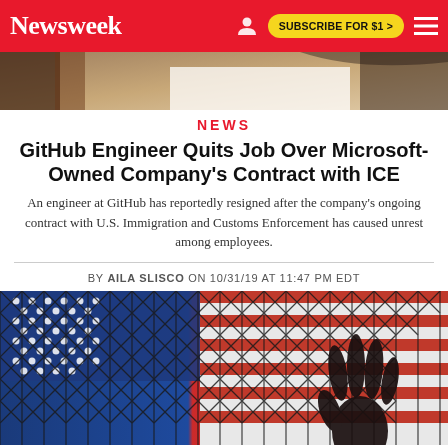Newsweek — SUBSCRIBE FOR $1 >
[Figure (photo): Partial top image showing a blurred background scene]
NEWS
GitHub Engineer Quits Job Over Microsoft-Owned Company's Contract with ICE
An engineer at GitHub has reportedly resigned after the company's ongoing contract with U.S. Immigration and Customs Enforcement has caused unrest among employees.
BY AILA SLISCO ON 10/31/19 AT 11:47 PM EDT
[Figure (photo): Chain-link fence with American flag in background and a hand silhouette reaching through the fence]